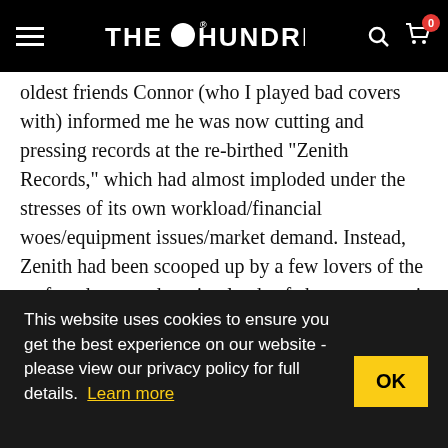THE HUNDREDS
oldest friends Connor (who I played bad covers with) informed me he was now cutting and pressing records at the re-birthed “Zenith Records,” which had almost imploded under the stresses of its own workload/financial woes/equipment issues/market demand. Instead, Zenith had been scooped up by a few lovers of the craft and was undergoing loads of changes to get it back, providing quality locally-produced vinyl pressings. I had to go and see him, meet the owner, and see this magical world where the crackle and hiss I recall from first putting on my parents’ copy of Neil Young’s Harvest was now being birthed to local contemporary music – including bands that I work
This website uses cookies to ensure you get the best experience on our website - please view our privacy policy for full details. Learn more